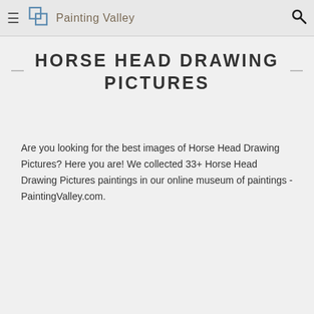Painting Valley
HORSE HEAD DRAWING PICTURES
Are you looking for the best images of Horse Head Drawing Pictures? Here you are! We collected 33+ Horse Head Drawing Pictures paintings in our online museum of paintings - PaintingValley.com.